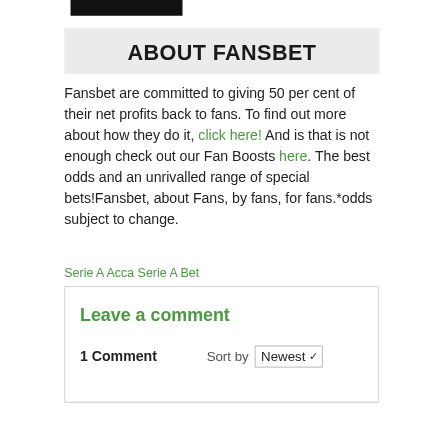[Figure (photo): Partial view of a dark photograph cropped at top of page]
ABOUT FANSBET
Fansbet are committed to giving 50 per cent of their net profits back to fans. To find out more about how they do it, click here! And is that is not enough check out our Fan Boosts here. The best odds and an unrivalled range of special bets!Fansbet, about Fans, by fans, for fans.*odds subject to change.
Serie A Acca Serie A Bet
Leave a comment
1 Comment  Sort by  Newest